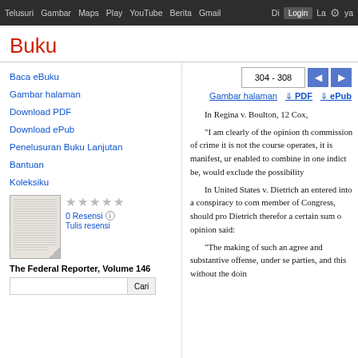Telusuri  Gambar  Maps  Play  YouTube  Berita  Gmail  Drive  Login  Lainnya
Buku
304 - 308
Gambar halaman  ↓ PDF  ↓ ePub
Baca eBuku
Gambar halaman
Download PDF
Download ePub
Penelusuran Buku Lanjutan
Bantuan
Koleksiku
0 Resensi
Tulis resensi
The Federal Reporter, Volume 146
In Regina v. Boulton, 12 Cox,
"I am clearly of the opinion th commission of crime it is not the course operates, it is manifest, ur enabled to combine in one indict be, would exclude the possibility
In United States v. Dietrich an entered into a conspiracy to com member of Congress, should pro Dietrich therefor a certain sum o opinion said:
"The making of such an agree and substantive offense, under se parties, and this without the doin